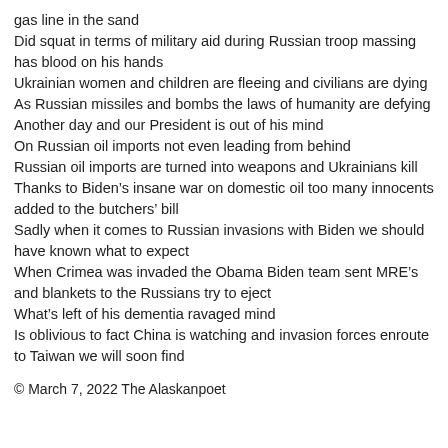gas line in the sand
Did squat in terms of military aid during Russian troop massing has blood on his hands
Ukrainian women and children are fleeing and civilians are dying
As Russian missiles and bombs the laws of humanity are defying
Another day and our President is out of his mind
On Russian oil imports not even leading from behind
Russian oil imports are turned into weapons and Ukrainians kill
Thanks to Biden's insane war on domestic oil too many innocents added to the butchers' bill
Sadly when it comes to Russian invasions with Biden we should have known what to expect
When Crimea was invaded the Obama Biden team sent MRE's and blankets to the Russians try to eject
What's left of his dementia ravaged mind
Is oblivious to fact China is watching and invasion forces enroute to Taiwan we will soon find
© March 7, 2022 The Alaskanpoet